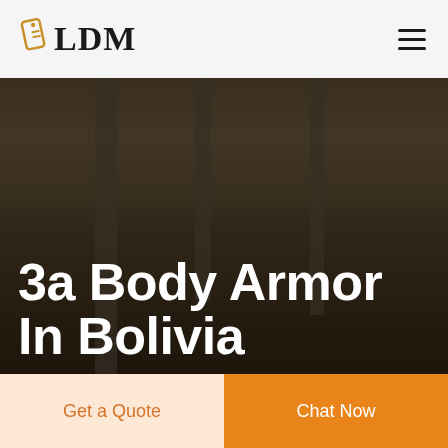LDM
[Figure (photo): A factory or warehouse interior with structural pillars visible, dimly lit, serving as hero background image for a body armor product page.]
3a Body Armor In Bolivia
Get a Quote
Chat Now